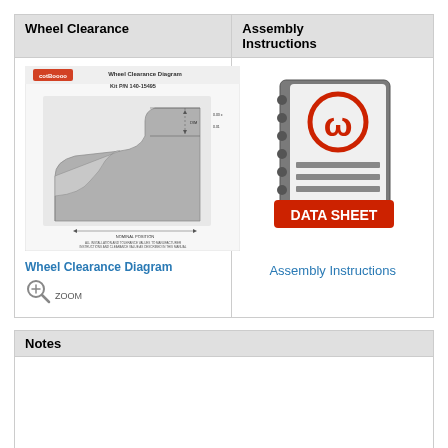Wheel Clearance
Assembly Instructions
[Figure (engineering-diagram): Wheel Clearance Diagram technical drawing showing cross-section of wheel and rail clearance with dimensions, labeled Kit P/N 140-15495]
Wheel Clearance Diagram
ZOOM
[Figure (illustration): Data Sheet icon - stylized notebook with CW logo in red and 'DATA SHEET' red banner label]
Assembly Instructions
Notes